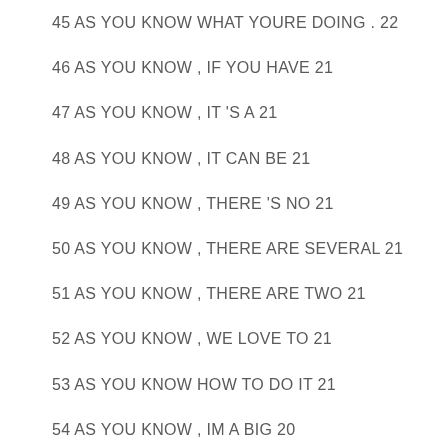45 AS YOU KNOW WHAT YOURE DOING . 22
46 AS YOU KNOW , IF YOU HAVE 21
47 AS YOU KNOW , IT 'S A 21
48 AS YOU KNOW , IT CAN BE 21
49 AS YOU KNOW , THERE 'S NO 21
50 AS YOU KNOW , THERE ARE SEVERAL 21
51 AS YOU KNOW , THERE ARE TWO 21
52 AS YOU KNOW , WE LOVE TO 21
53 AS YOU KNOW HOW TO DO IT 21
54 AS YOU KNOW , IM A BIG 20
55 AS YOU KNOW , WE LIKE TO 20